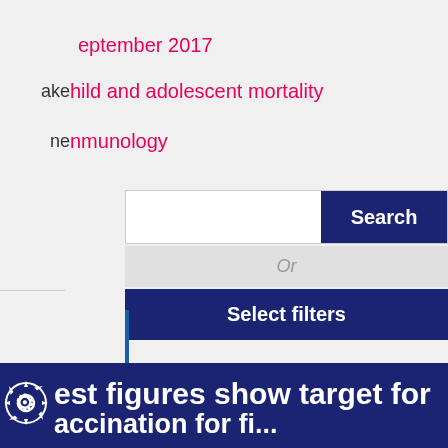eptember 2017
ake
hild and adolescent mortality
ne
nmunology
Search
Or
Select filters
est figures show target for
accination for fi...